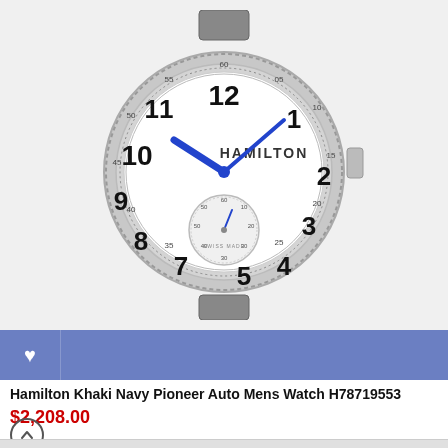[Figure (photo): Hamilton Khaki Navy Pioneer watch with white dial, blue hands, and small seconds subdial at 6 o'clock. Stainless steel case with metal bracelet.]
♥
Hamilton Khaki Navy Pioneer Auto Mens Watch H78719553
$2,208.00
↑